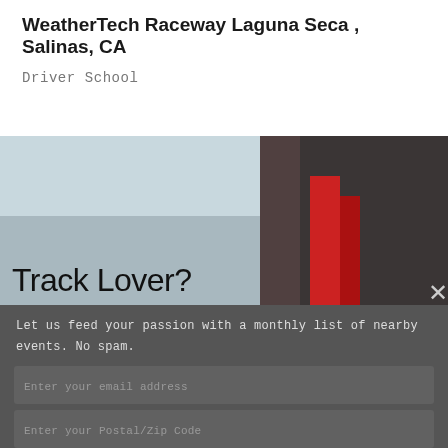WeatherTech Raceway Laguna Seca , Salinas, CA
Driver School
[Figure (photo): A woman wearing a white racing helmet and racing suit sitting inside a race car with red interior, smiling at the camera. Text overlay reads 'Track Lover?' in large light font on the left side.]
Let us feed your passion with a monthly list of nearby events. No spam.
Enter your email address
Enter your Postal/Zip Code
I'M A FAN, LET ME IN
Accept all cookies